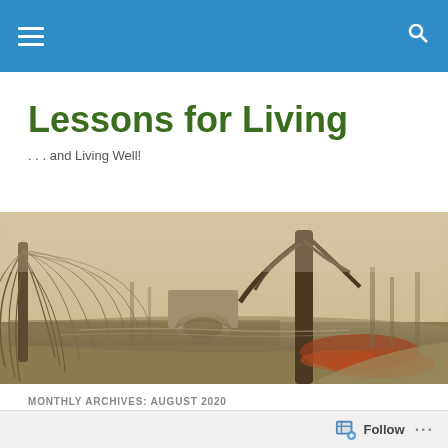Navigation bar with hamburger menu and search icon
Lessons for Living
. . . and Living Well!
[Figure (photo): Misty autumn scenic landscape with bare willow trees, a stone arch bridge reflected in calm water, and a path with fallen red leaves, fog in background]
MONTHLY ARCHIVES: AUGUST 2020
A Life of Rhythms or Reactions?
Follow ...